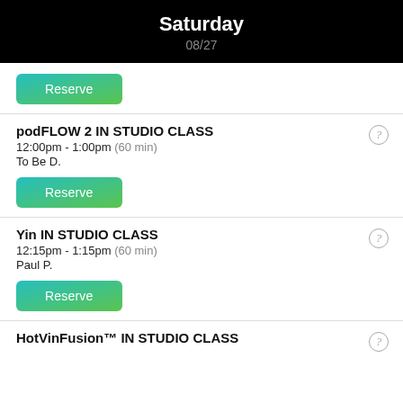Saturday
08/27
Reserve (button)
podFLOW 2 IN STUDIO CLASS
12:00pm - 1:00pm (60 min)
To Be D.
Reserve (button)
Yin IN STUDIO CLASS
12:15pm - 1:15pm (60 min)
Paul P.
Reserve (button)
HotVinFusion™ IN STUDIO CLASS